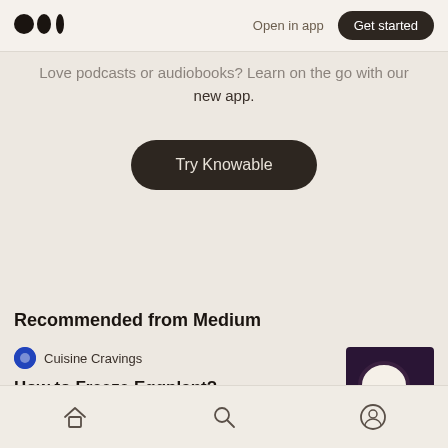Medium logo | Open in app | Get started
Love podcasts or audiobooks? Learn on the go with our new app.
Try Knowable
Recommended from Medium
Cuisine Cravings
How to Freeze Eggplant?
[Figure (photo): Sliced eggplant thumbnail for article 'How to Freeze Eggplant?']
Home | Search | Profile icons